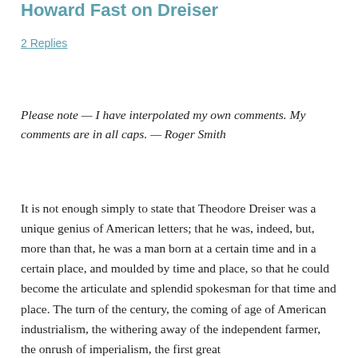Howard Fast on Dreiser
2 Replies
Please note — I have interpolated my own comments. My comments are in all caps. — Roger Smith
It is not enough simply to state that Theodore Dreiser was a unique genius of American letters; that he was, indeed, but, more than that, he was a man born at a certain time and in a certain place, and moulded by time and place, so that he could become the articulate and splendid spokesman for that time and place. The turn of the century, the coming of age of American industrialism, the withering away of the independent farmer, the onrush of imperialism, the first great